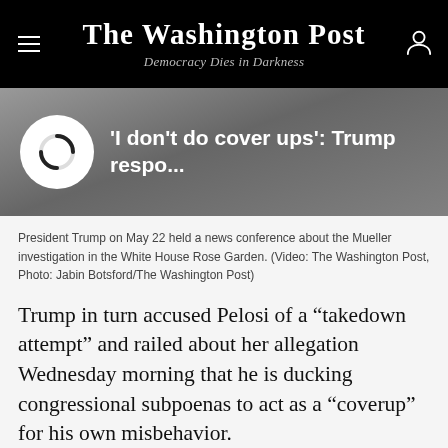The Washington Post
Democracy Dies in Darkness
[Figure (screenshot): Video thumbnail with play/loading icon and truncated headline: 'I don't do cover ups': Trump respo...]
President Trump on May 22 held a news conference about the Mueller investigation in the White House Rose Garden. (Video: The Washington Post, Photo: Jabin Botsford/The Washington Post)
Trump in turn accused Pelosi of a “takedown attempt” and railed about her allegation Wednesday morning that he is ducking congressional subpoenas to act as a “coverup” for his own misbehavior.
Left in grave doubt were hopes for bipartisan